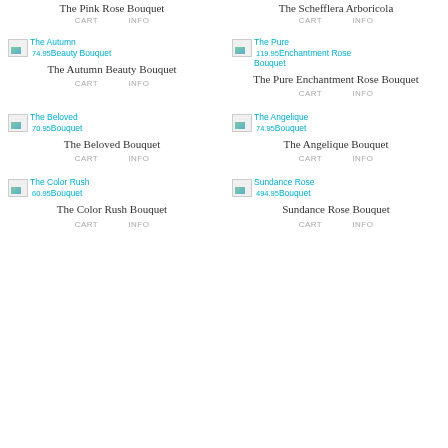The Pink Rose Bouquet
CART   INFO
The Schefflera Arboricola
CART   INFO
[Figure (photo): Broken image placeholder with link text: The Autumn Beauty Bouquet, price 74.95]
The Autumn Beauty Bouquet
CART   INFO
[Figure (photo): Broken image placeholder with link text: The Pure Enchantment Rose Bouquet, price 119.95]
The Pure Enchantment Rose Bouquet
CART   INFO
[Figure (photo): Broken image placeholder with link text: The Beloved Bouquet, price 70.95]
The Beloved Bouquet
CART   INFO
[Figure (photo): Broken image placeholder with link text: The Angelique Bouquet, price 74.95]
The Angelique Bouquet
CART   INFO
[Figure (photo): Broken image placeholder with link text: The Color Rush Bouquet, price 60.95]
The Color Rush Bouquet
CART   INFO
[Figure (photo): Broken image placeholder with link text: Sundance Rose Bouquet, price 494.95]
Sundance Rose Bouquet
CART   INFO